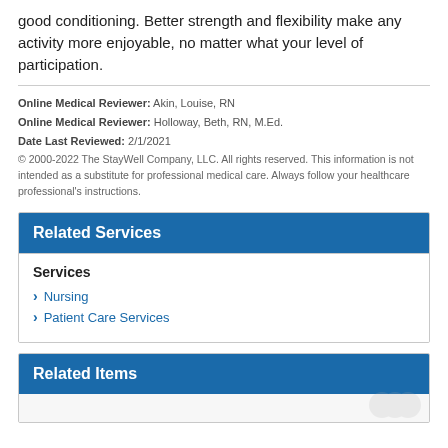good conditioning. Better strength and flexibility make any activity more enjoyable, no matter what your level of participation.
Online Medical Reviewer: Akin, Louise, RN
Online Medical Reviewer: Holloway, Beth, RN, M.Ed.
Date Last Reviewed: 2/1/2021
© 2000-2022 The StayWell Company, LLC. All rights reserved. This information is not intended as a substitute for professional medical care. Always follow your healthcare professional's instructions.
Related Services
Services
Nursing
Patient Care Services
Related Items